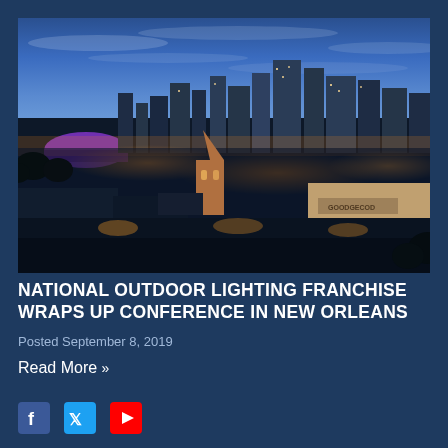[Figure (photo): Aerial nighttime cityscape of New Orleans skyline with the Superdome visible on the left and illuminated city buildings and streets in the foreground against a blue twilight sky]
NATIONAL OUTDOOR LIGHTING FRANCHISE WRAPS UP CONFERENCE IN NEW ORLEANS
Posted September 8, 2019
Read More »